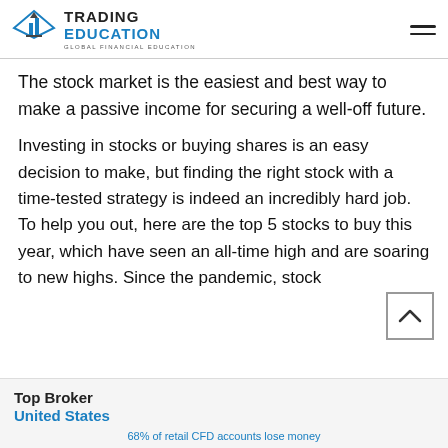TRADING EDUCATION — GLOBAL FINANCIAL EDUCATION
The stock market is the easiest and best way to make a passive income for securing a well-off future.
Investing in stocks or buying shares is an easy decision to make, but finding the right stock with a time-tested strategy is indeed an incredibly hard job. To help you out, here are the top 5 stocks to buy this year, which have seen an all-time high and are soaring to new highs. Since the pandemic, stock
Top Broker
United States
68% of retail CFD accounts lose money